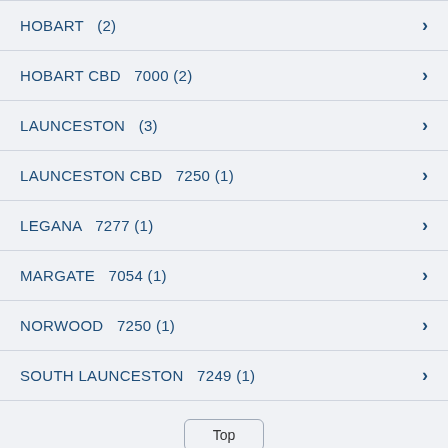HOBART  (2)
HOBART CBD  7000 (2)
LAUNCESTON  (3)
LAUNCESTON CBD  7250 (1)
LEGANA  7277 (1)
MARGATE  7054 (1)
NORWOOD  7250 (1)
SOUTH LAUNCESTON  7249 (1)
Top